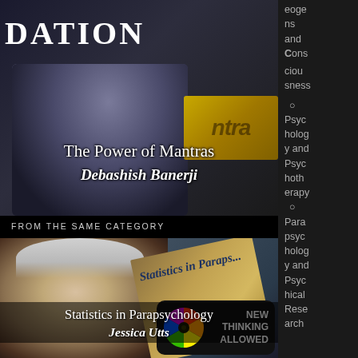DATION
[Figure (photo): Dark background with image of person, gold/yellow poster with text 'ntra', overlay showing 'The Power of Mantras' and author 'Debashish Banerji']
The Power of Mantras
Debashish Banerji
eoge ns and Cons ciou sness
Psychology and Psychotherapy
Parapsychology and Psychical Research
FROM THE SAME CATEGORY
[Figure (photo): Smiling woman with white/blonde hair, book cover 'Statistics in Parapsychology' visible, New Thinking Allowed badge with color wheel logo]
Statistics in Parapsychology
Jessica Utts